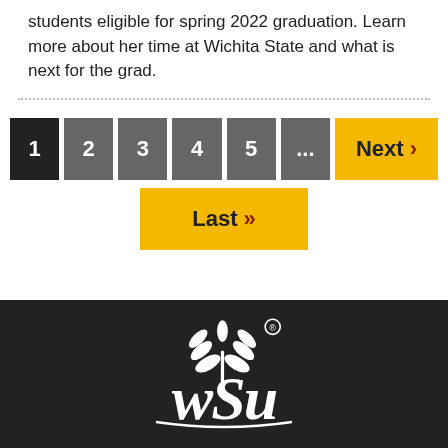students eligible for spring 2022 graduation. Learn more about her time at Wichita State and what is next for the grad.
[Figure (other): Pagination navigation with buttons: 1 (active/dark), 2, 3, 4, 5, ..., Next >, and Last >> below]
[Figure (logo): Wichita State University (WSU) white logo with wheat symbol on dark background footer]